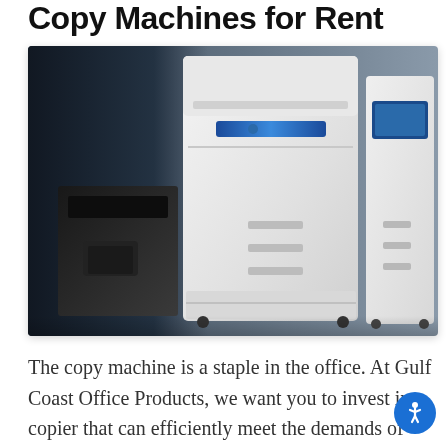Copy Machines for Rent
[Figure (photo): Photo showing office copy machines: a person in a dark suit using a dark desktop copier on the left, a large white multifunction copier in the center, and another white copier on the right]
The copy machine is a staple in the office. At Gulf Coast Office Products, we want you to invest in a copier that can efficiently meet the demands of your business.